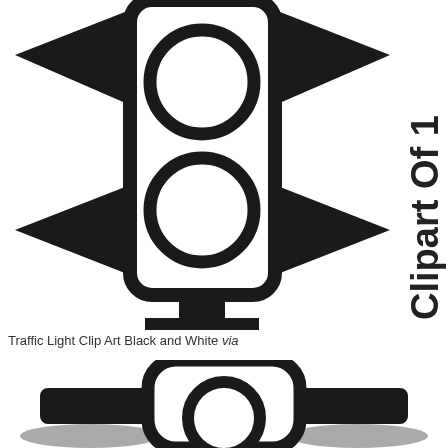[Figure (illustration): Black and white clipart of a traffic light. The image shows a large traffic light housing with two circular lights (top and bottom), horizontal arrow-shaped visor panels on the left and right sides, and a vertical pole with a base bracket. The word 'Clipart Of 1' is printed vertically along the right edge. The illustration is cropped showing only the upper portion of the traffic light.]
Traffic Light Clip Art Black and White via
[Figure (illustration): Black and white clipart of another traffic light, showing the top portion cropped. Features a rounded rectangular housing with thick black outlines, one circular light visible, horizontal arm extensions on both sides, and a grey/shadowed base. The image is cropped at the bottom.]